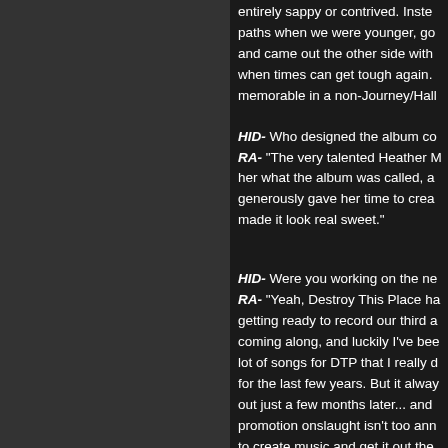entirely sappy or contrived. Inste paths when we were younger, go and came out the other side with when times can get tough again. memorable in a non-Journey/Hall
HID- Who designed the album co RA- "The very talented Heather M her what the album was called, a generously gave her time to crea made it look real sweet."
HID- Were you working on the ne RA- "Yeah, Destroy This Place ha getting ready to record our third a coming along, and luckily I've bee lot of songs for DTP that I really d for the last few years. But it alwa out just a few months later... and promotion onslaught isn't too ann to create music and get it out the
HID- At the...